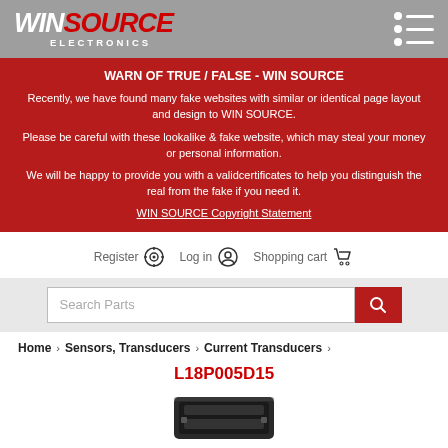WIN SOURCE ELECTRONICS
WARN OF TRUE / FALSE - WIN SOURCE
Recently, we have found many fake websites with similar or identical page layout and design to WIN SOURCE.
Please be careful with these lookalike & fake website, which may steal your money or personal information.
We will be happy to provide you with a validcertificates to help you distinguish the real from the fake if you need it.
WIN SOURCE Copyright Statement
Register  Log in  Shopping cart
Search Parts
Home › Sensors, Transducers › Current Transducers ›
L18P005D15
[Figure (photo): Product photo of L18P005D15 current transducer component, black rectangular device]